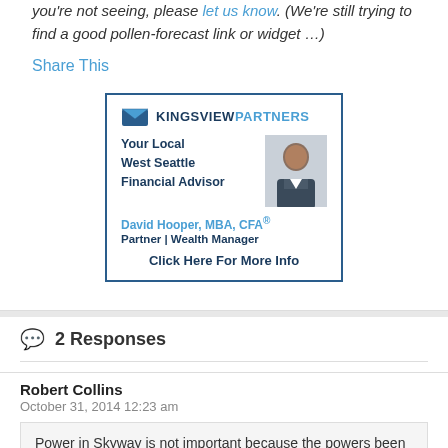you're not seeing, please let us know. (We're still trying to find a good pollen-forecast link or widget …)
Share This
[Figure (advertisement): Kingsview Partners advertisement featuring David Hooper, MBA, CFA. Your Local West Seattle Financial Advisor. Partner | Wealth Manager. Click Here For More Info.]
2 Responses
Robert Collins
October 31, 2014 12:23 am
Power in Skyway is not important because the powers been out since